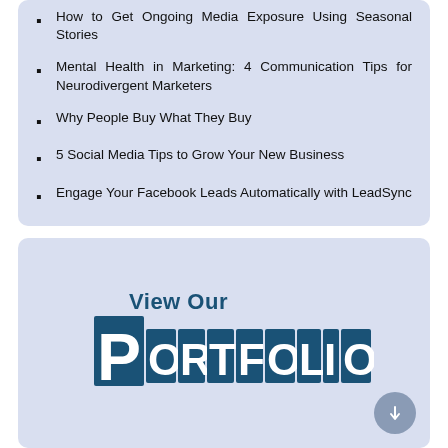How to Get Ongoing Media Exposure Using Seasonal Stories
Mental Health in Marketing: 4 Communication Tips for Neurodivergent Marketers
Why People Buy What They Buy
5 Social Media Tips to Grow Your New Business
Engage Your Facebook Leads Automatically with LeadSync
[Figure (logo): View Our PORTFOLIO logo in dark blue with block letters on a light blue background]